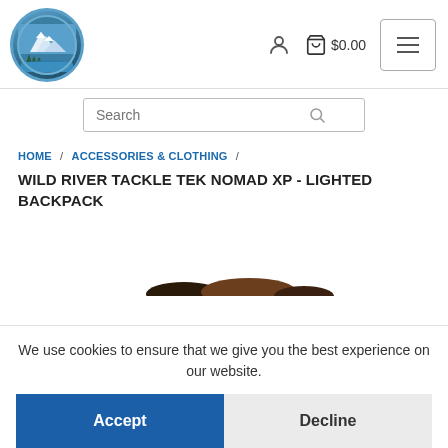[Figure (logo): Outdoor/camping logo: oval badge with mountains, pine trees, and water scene in blue and green tones]
$0.00
Search
HOME / ACCESSORIES & CLOTHING / WILD RIVER TACKLE TEK NOMAD XP - LIGHTED BACKPACK
WILD RIVER TACKLE TEK NOMAD XP - LIGHTED BACKPACK
[Figure (photo): Partial product image showing top portion of a backpack]
We use cookies to ensure that we give you the best experience on our website.
Accept
Decline